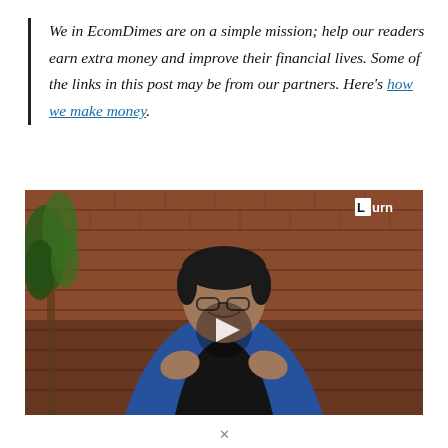We in EcomDimes are on a simple mission; help our readers earn extra money and improve their financial lives. Some of the links in this post may be from our partners. Here's how we make money.
[Figure (photo): Video thumbnail showing a man in a blue blazer and black shirt, smiling and gesturing with his hands, against a brick wall background with a plant on the left. A play button is centered on the image. A 'Lurn' logo appears in the top right corner.]